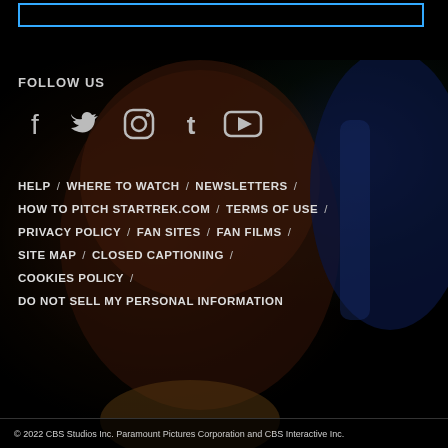[Figure (screenshot): Top black bar with blue-bordered search/input rectangle]
[Figure (photo): Cinematic dark background showing a person's face lit dramatically, from a Star Trek production]
FOLLOW US
[Figure (infographic): Social media icons: Facebook, Twitter, Instagram, Tumblr, YouTube]
HELP / WHERE TO WATCH / NEWSLETTERS / HOW TO PITCH STARTREK.COM / TERMS OF USE / PRIVACY POLICY / FAN SITES / FAN FILMS / SITE MAP / CLOSED CAPTIONING / COOKIES POLICY / DO NOT SELL MY PERSONAL INFORMATION
© 2022 CBS Studios Inc. Paramount Pictures Corporation and CBS Interactive Inc.